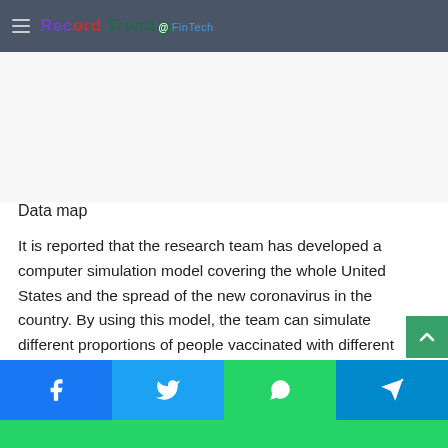Record Trend FinTech
Data map
It is reported that the research team has developed a computer simulation model covering the whole United States and the spread of the new coronavirus in the country. By using this model, the team can simulate different proportions of people vaccinated with different types of covid-19 vaccine in different proportions. Like real people, these virtual people may also be infected with the virus and have different